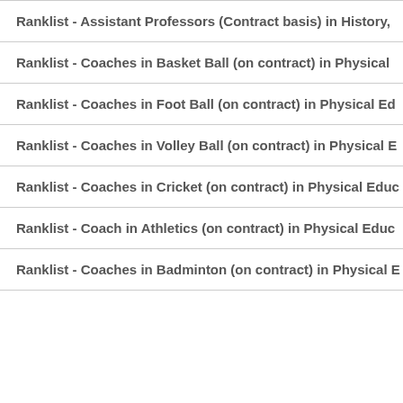Ranklist - Assistant Professors (Contract basis) in History,…
Ranklist - Coaches in Basket Ball (on contract) in Physical…
Ranklist - Coaches in Foot Ball (on contract) in Physical Ed…
Ranklist - Coaches in Volley Ball (on contract) in Physical E…
Ranklist - Coaches in Cricket (on contract) in Physical Educ…
Ranklist - Coach in Athletics (on contract) in Physical Educ…
Ranklist - Coaches in Badminton (on contract) in Physical E…